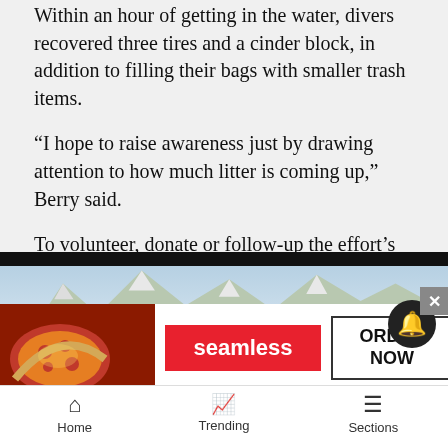Within an hour of getting in the water, divers recovered three tires and a cinder block, in addition to filling their bags with smaller trash items.
“I hope to raise awareness just by drawing attention to how much litter is coming up,” Berry said.
To volunteer, donate or follow-up the effort’s progress, visit https://cleanupthelake.org.
Divers will circumvent the lake, cleaning up trash along the way. | Laney Griffo / Tahoe Daily Tribune
[Figure (photo): Photograph of Lake Tahoe with snow-capped mountains in the background. An advertisement overlay shows pizza from Seamless with an ORDER NOW button.]
Home   Trending   Sections